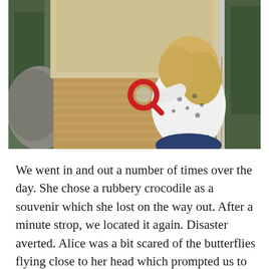[Figure (photo): A young blonde child holding a red magnifying glass, standing on a wooden boardwalk bridge in a garden or outdoor attraction, viewed from behind. Rocks and greenery visible on the sides.]
We went in and out a number of times over the day. She chose a rubbery crocodile as a souvenir which she lost on the way out. After a minute strop, we located it again. Disaster averted. Alice was a bit scared of the butterflies flying close to her head which prompted us to leave but she did talk happily about what she'd seen on the way back so she'd obviously enjoyed it. When we got home she wanted her animal box out and dug out the